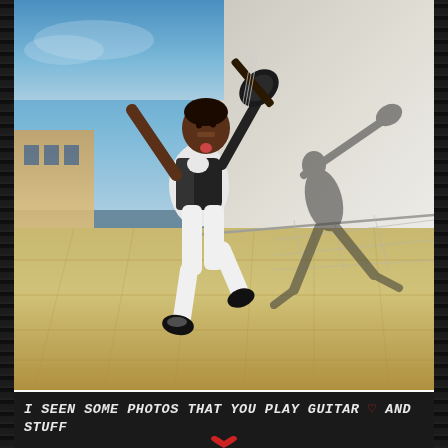[Figure (photo): A young person mid-jump outdoors, playing an electric guitar, wearing a black jacket and white pants with black shoes. Their shadow is visible on a stone wall behind them. Blue sky is visible in the upper left. The setting appears to be a rooftop or plaza area.]
I SEEN SOME PHOTOS THAT YOU PLAY GUITAR ♡ AND STUFF